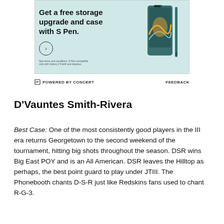[Figure (screenshot): Samsung Galaxy Z Fold advertisement showing phone with S Pen. Text reads: Get a free storage upgrade and case with S Pen. Circle arrow button. Fine print text about terms and conditions.]
POWERED BY CONCERT   FEEDBACK
D'Vauntes Smith-Rivera
Best Case: One of the most consistently good players in the III era returns Georgetown to the second weekend of the tournament, hitting big shots throughout the season. DSR wins Big East POY and is an All American. DSR leaves the Hilltop as perhaps, the best point guard to play under JTIII. The Phonebooth chants D-S-R just like Redskins fans used to chant R-G-3.